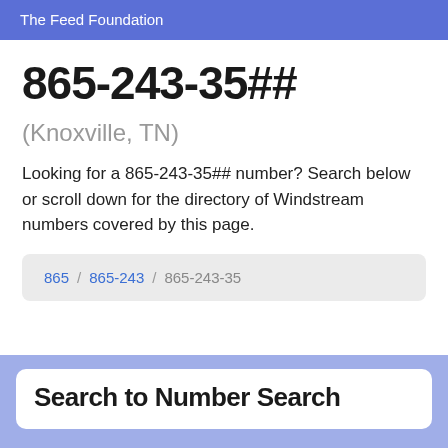The Feed Foundation
865-243-35##
(Knoxville, TN)
Looking for a 865-243-35## number? Search below or scroll down for the directory of Windstream numbers covered by this page.
865 / 865-243 / 865-243-35